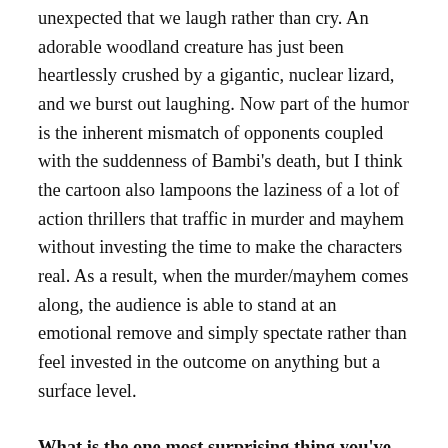unexpected that we laugh rather than cry. An adorable woodland creature has just been heartlessly crushed by a gigantic, nuclear lizard, and we burst out laughing. Now part of the humor is the inherent mismatch of opponents coupled with the suddenness of Bambi's death, but I think the cartoon also lampoons the laziness of a lot of action thrillers that traffic in murder and mayhem without investing the time to make the characters real. As a result, when the murder/mayhem comes along, the audience is able to stand at an emotional remove and simply spectate rather than feel invested in the outcome on anything but a surface level.
What is the one most surprising thing you've learned about the traditional publishing industry? What was it like working with Amazon's own Thomas & Mercer? Have you